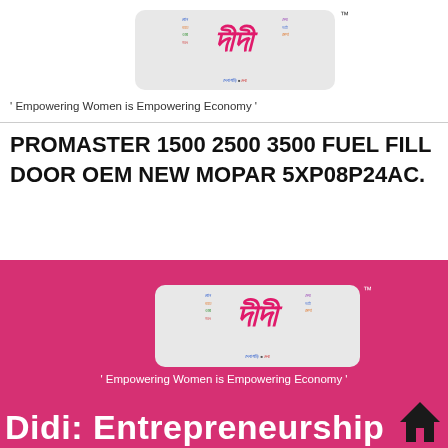[Figure (logo): Didi logo with Bengali text word cloud and pink Didi script text on grey rounded rectangle background]
' Empowering Women is Empowering Economy '
PROMASTER 1500 2500 3500 FUEL FILL DOOR OEM NEW MOPAR 5XP08P24AC.
[Figure (logo): Didi logo with Bengali text word cloud and pink Didi script text on grey rounded rectangle background, on pink background]
' Empowering Women is Empowering Economy '
Didi: Entrepreneurship